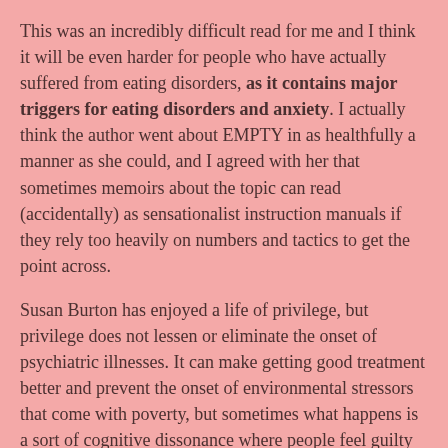This was an incredibly difficult read for me and I think it will be even harder for people who have actually suffered from eating disorders, as it contains major triggers for eating disorders and anxiety. I actually think the author went about EMPTY in as healthfully a manner as she could, and I agreed with her that sometimes memoirs about the topic can read (accidentally) as sensationalist instruction manuals if they rely too heavily on numbers and tactics to get the point across.
Susan Burton has enjoyed a life of privilege, but privilege does not lessen or eliminate the onset of psychiatric illnesses. It can make getting good treatment better and prevent the onset of environmental stressors that come with poverty, but sometimes what happens is a sort of cognitive dissonance where people feel guilty for not being happy or healthy despite having so much. Mental illness is an equal opportunity disease that can affect anyone or everyone and I think that is something important to keep in mind when reading memoirs like these, that we don't get to choose how our brains are wired, any more than we can choose who we are, and what we look like.